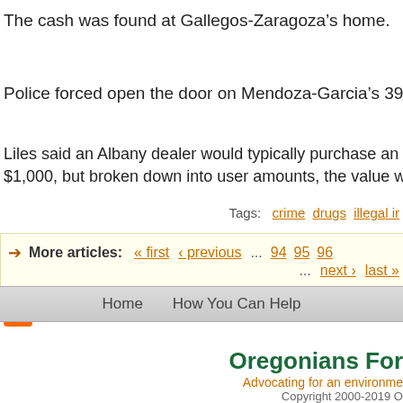The cash was found at Gallegos-Zaragoza’s home.
Police forced open the door on Mendoza-Garcia’s 39th Avenue r…
Liles said an Albany dealer would typically purchase an ounce o… $1,000, but broken down into user amounts, the value would be…
Tags: crime drugs illegal i…
More articles: « first ‹ previous … 94 95 96 … next › last »
[Figure (other): RSS feed icon]
Home   How You Can Help…
Oregonians For…
Advocating for an environme…
Copyright 2000-2019 O…